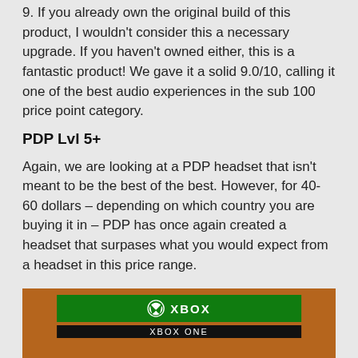9. If you already own the original build of this product, I wouldn't consider this a necessary upgrade. If you haven't owned either, this is a fantastic product! We gave it a solid 9.0/10, calling it one of the best audio experiences in the sub 100 price point category.
PDP Lvl 5+
Again, we are looking at a PDP headset that isn't meant to be the best of the best. However, for 40-60 dollars – depending on which country you are buying it in – PDP has once again created a headset that surpases what you would expect from a headset in this price range.
[Figure (photo): Photo of an Xbox One branded product box with green Xbox logo bar and 'XBOX ONE' text below on a black strip, sitting on a wooden surface.]